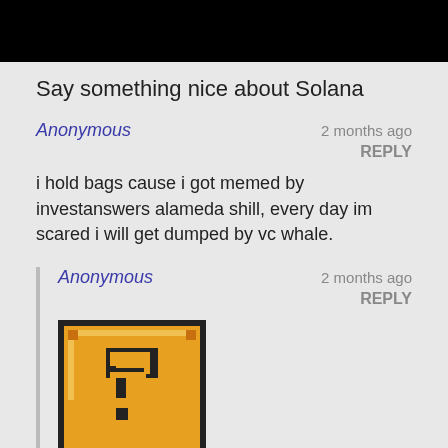[Figure (photo): Black rectangle at top of page, appears to be a cropped image header]
Say something nice about Solana
Anonymous
2 months ago
REPLY
i hold bags cause i got memed by investanswers alameda shill, every day im scared i will get dumped by vc whale.
Anonymous
2 months ago
REPLY
[Figure (illustration): Orange pixel-art style question mark block, similar to Mario game item block, with black border and dotted pattern]
• SOL has a solid support at $75